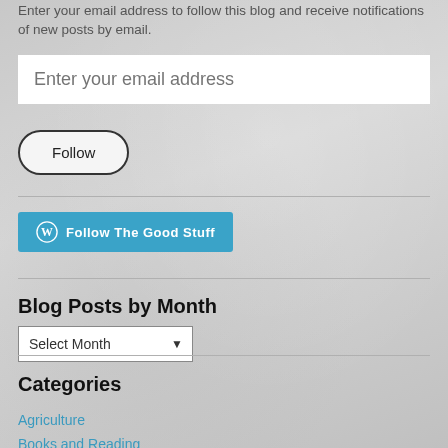Enter your email address to follow this blog and receive notifications of new posts by email.
Enter your email address
Follow
[Figure (logo): WordPress Follow The Good Stuff button in teal/blue color]
Blog Posts by Month
Select Month
Categories
Agriculture
Books and Reading